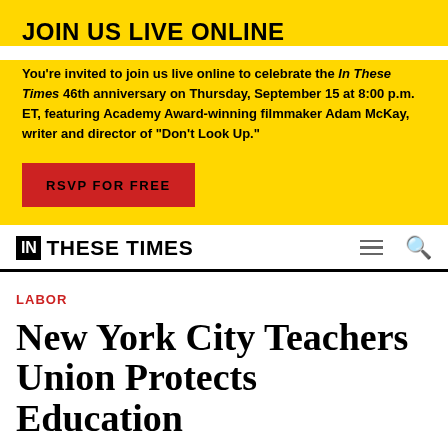JOIN US LIVE ONLINE
You're invited to join us live online to celebrate the In These Times 46th anniversary on Thursday, September 15 at 8:00 p.m. ET, featuring Academy Award-winning filmmaker Adam McKay, writer and director of "Don't Look Up."
RSVP FOR FREE
[Figure (logo): In These Times logo: black box with white IN text, followed by THESE TIMES in black uppercase bold text]
LABOR
New York City Teachers Union Protects Education